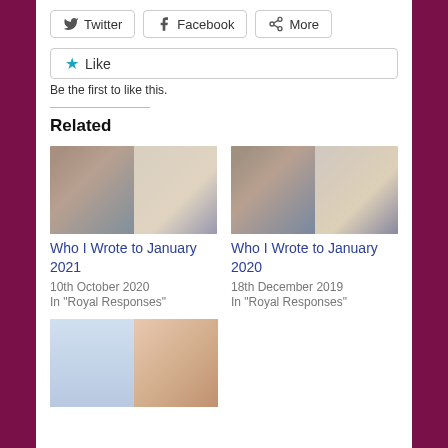Twitter | Facebook | More (share buttons)
Like
Be the first to like this.
Related
[Figure (photo): Two women in formal attire, related article thumbnail for 'Who I Wrote to January 2021']
Who I Wrote to January 2021
10th October 2020
In "Royal Responses"
[Figure (photo): Two women in formal attire, related article thumbnail for 'Who I Wrote to January 2020']
Who I Wrote to January 2020
18th December 2019
In "Royal Responses"
[Figure (photo): A baby and a woman in pink, related article thumbnail]